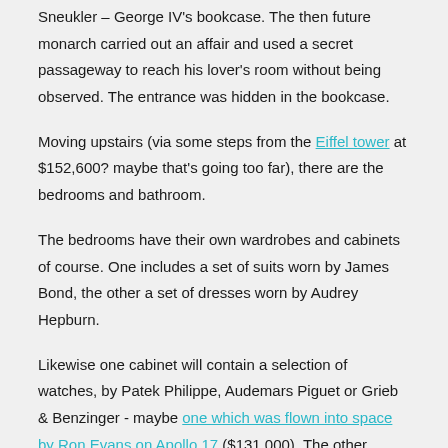Sneukler – George IV's bookcase. The then future monarch carried out an affair and used a secret passageway to reach his lover's room without being observed. The entrance was hidden in the bookcase.
Moving upstairs (via some steps from the Eiffel tower at $152,600? maybe that's going too far), there are the bedrooms and bathroom.
The bedrooms have their own wardrobes and cabinets of course. One includes a set of suits worn by James Bond, the other a set of dresses worn by Audrey Hepburn.
Likewise one cabinet will contain a selection of watches, by Patek Philippe, Audemars Piguet or Grieb & Benzinger - maybe one which was flown into space by Ron Evans on Apollo 17 ($131,000). The other would contain fine jewellery, including the panther bracelet ($7m) owned by Wallis Simpson.